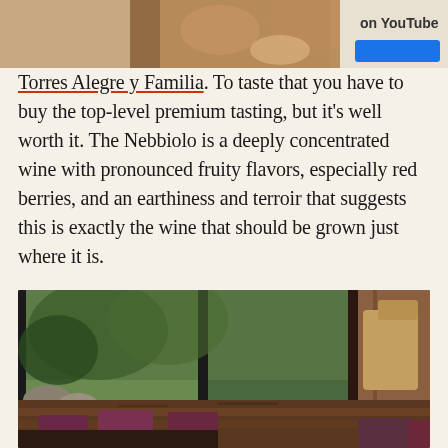[Figure (screenshot): Partial screenshot of a YouTube thumbnail or video banner showing people eating, with 'on YouTube' text and a blue button visible]
Torres Alegre y Familia. To taste that you have to buy the top-level premium tasting, but it's well worth it. The Nebbiolo is a deeply concentrated wine with pronounced fruity flavors, especially red berries, and an earthiness and terroir that suggests this is exactly the wine that should be grown just where it is.
[Figure (photo): Interior of an upscale restaurant dining room with a long wooden table, colorful patterned chairs, and large windows looking out onto lush green trees and garden]